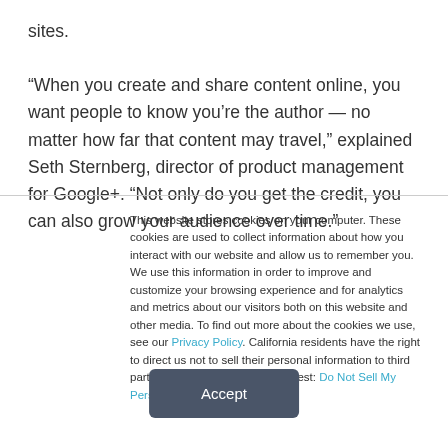sites.

“When you create and share content online, you want people to know you’re the author — no matter how far that content may travel,” explained Seth Sternberg, director of product management for Google+. “Not only do you get the credit, you can also grow your audience over time.”
This website stores cookies on your computer. These cookies are used to collect information about how you interact with our website and allow us to remember you. We use this information in order to improve and customize your browsing experience and for analytics and metrics about our visitors both on this website and other media. To find out more about the cookies we use, see our Privacy Policy. California residents have the right to direct us not to sell their personal information to third parties by filing an Opt-Out Request: Do Not Sell My Personal Info.